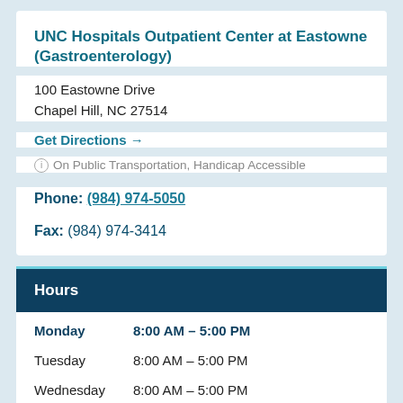UNC Hospitals Outpatient Center at Eastowne (Gastroenterology)
100 Eastowne Drive
Chapel Hill, NC 27514
Get Directions →
ⓘ On Public Transportation, Handicap Accessible
Phone: (984) 974-5050
Fax: (984) 974-3414
Hours
| Day | Hours |
| --- | --- |
| Monday | 8:00 AM – 5:00 PM |
| Tuesday | 8:00 AM – 5:00 PM |
| Wednesday | 8:00 AM – 5:00 PM |
| Thursday | 8:00 AM – 5:00 PM |